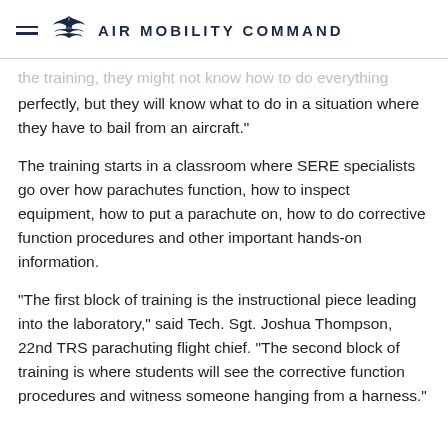AIR MOBILITY COMMAND
the training, they might not know how to do everything perfectly, but they will know what to do in a situation where they have to bail from an aircraft."
The training starts in a classroom where SERE specialists go over how parachutes function, how to inspect equipment, how to put a parachute on, how to do corrective function procedures and other important hands-on information.
"The first block of training is the instructional piece leading into the laboratory," said Tech. Sgt. Joshua Thompson, 22nd TRS parachuting flight chief. "The second block of training is where students will see the corrective function procedures and witness someone hanging from a harness."